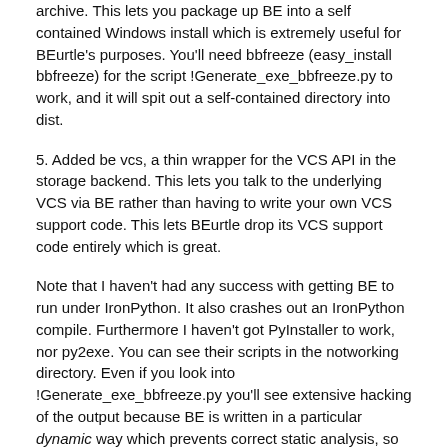archive. This lets you package up BE into a self contained Windows install which is extremely useful for BEurtle's purposes. You'll need bbfreeze (easy_install bbfreeze) for the script !Generate_exe_bbfreeze.py to work, and it will spit out a self-contained directory into dist.
5. Added be vcs, a thin wrapper for the VCS API in the storage backend. This lets you talk to the underlying VCS via BE rather than having to write your own VCS support code. This lets BEurtle drop its VCS support code entirely which is great.
Note that I haven't had any success with getting BE to run under IronPython. It also crashes out an IronPython compile. Furthermore I haven't got PyInstaller to work, nor py2exe. You can see their scripts in the notworking directory. Even if you look into !Generate_exe_bbfreeze.py you'll see extensive hacking of the output because BE is written in a particular dynamic way which prevents correct static analysis, so all the standard ways of bundling it up fail to include most of BE and its dependencies.
Niall Douglas February 2012